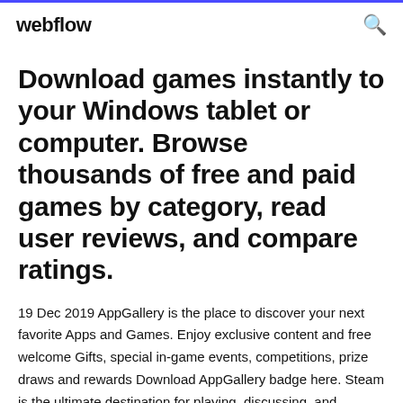webflow
Download games instantly to your Windows tablet or computer. Browse thousands of free and paid games by category, read user reviews, and compare ratings.
19 Dec 2019 AppGallery is the place to discover your next favorite Apps and Games. Enjoy exclusive content and free welcome Gifts, special in-game events, competitions, prize draws and rewards Download AppGallery badge here. Steam is the ultimate destination for playing, discussing, and creating games